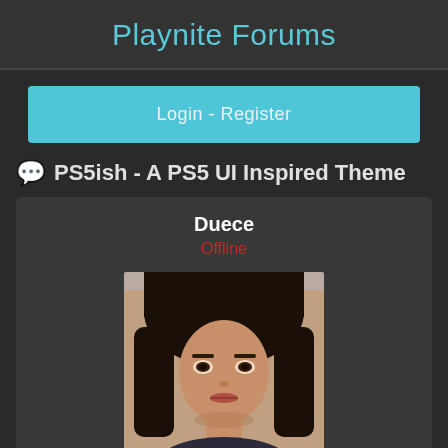Playnite Forums
Login - Register
💬 PS5ish - A PS5 UI Inspired Theme
Duece
Offline
[Figure (photo): Avatar photo of a woman with long dark hair, facing the camera]